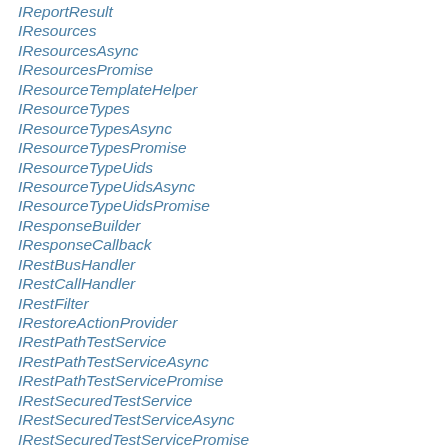IReportResult
IResources
IResourcesAsync
IResourcesPromise
IResourceTemplateHelper
IResourceTypes
IResourceTypesAsync
IResourceTypesPromise
IResourceTypeUids
IResourceTypeUidsAsync
IResourceTypeUidsPromise
IResponseBuilder
IResponseCallback
IRestBusHandler
IRestCallHandler
IRestFilter
IRestoreActionProvider
IRestPathTestService
IRestPathTestServiceAsync
IRestPathTestServicePromise
IRestSecuredTestService
IRestSecuredTestServiceAsync
IRestSecuredTestServicePromise
IRestServiceRolesOnClass
IRestServiceRolesOnClassAndMethod
IRestServiceRolesOnMethod
IRestStreamTestService
IRestStreamTestServiceAsync
IRestStreamTestServicePromise